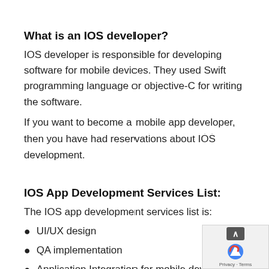What is an IOS developer?
IOS developer is responsible for developing software for mobile devices. They used Swift programming language or objective-C for writing the software.
If you want to become a mobile app developer, then you have had reservations about IOS development.
IOS App Development Services List:
The IOS app development services list is:
UI/UX design
QA implementation
Application Integration for mobile devices like